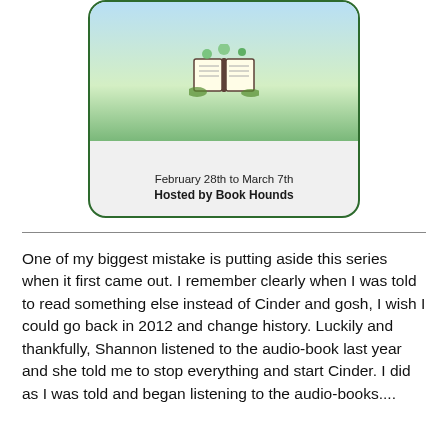[Figure (illustration): A book club or reading event banner image showing an open book with nature/green theme, dated February 28th to March 7th, Hosted by Book Hounds]
One of my biggest mistake is putting aside this series when it first came out. I remember clearly when I was told to read something else instead of Cinder and gosh, I wish I could go back in 2012 and change history. Luckily and thankfully, Shannon listened to the audio-book last year and she told me to stop everything and start Cinder. I did as I was told and began listening to the audio-books....
LET ME TELL YOU, IF YOU HAVE NOT READ THE LUNAR CHRONICLES, YOU NEED TO STOP EVERYTHING AND START NOW!
This series is far one of the best series I've read. It is full of actions, swoons, amazing characters, plot twists, Captain Thorne, lots of feels and so much more. I loved this series...